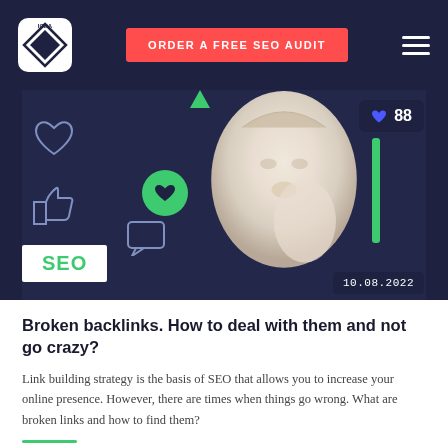ICEA logo | ORDER A FREE SEO AUDIT | hamburger menu
[Figure (illustration): Hero image with dark navy background, classical Greek/Roman marble statue face, social media icons (heart, thumbs up, green circle with heart, chat bubble), stats overlay showing heart icon and 88, green vertical bar, date 10.08.2022, SEO label tag in white]
Broken backlinks. How to deal with them and not go crazy?
Link building strategy is the basis of SEO that allows you to increase your online presence. However, there are times when things go wrong. What are broken links and how to find them?